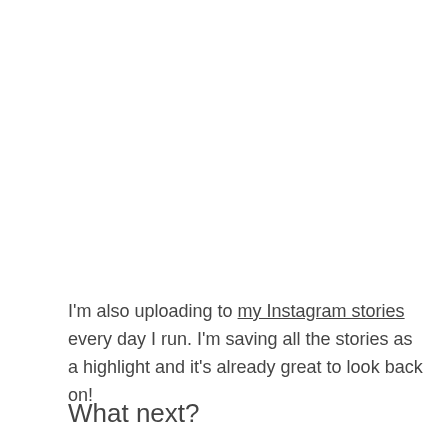I'm also uploading to my Instagram stories every day I run. I'm saving all the stories as a highlight and it's already great to look back on!
What next?